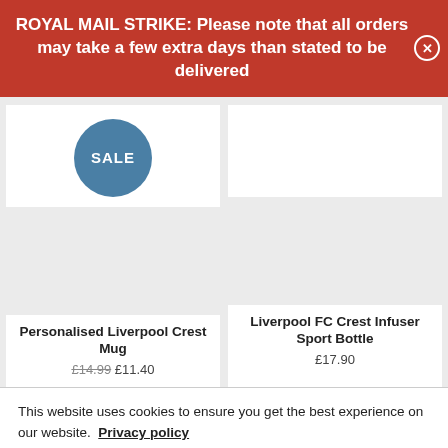ROYAL MAIL STRIKE: Please note that all orders may take a few extra days than stated to be delivered
[Figure (other): Blue circle badge with text SALE]
[Figure (other): Personalised Liverpool Crest Mug product image placeholder]
Personalised Liverpool Crest Mug
£14.99 £11.40
[Figure (other): Liverpool FC Crest Infuser Sport Bottle product image placeholder]
Liverpool FC Crest Infuser Sport Bottle
£17.90
This website uses cookies to ensure you get the best experience on our website.  Privacy policy
Got it